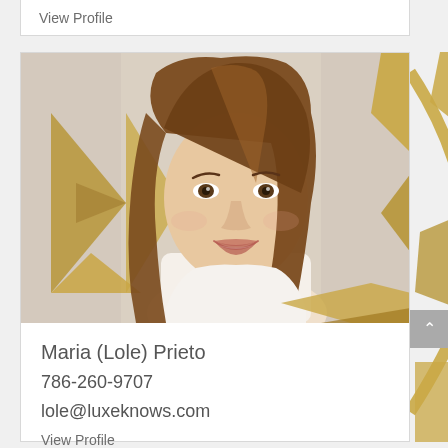View Profile
[Figure (photo): Professional headshot of Maria (Lole) Prieto, a woman with long brown hair, smiling, wearing a white top and gold necklace, with a geometric gold/bronze logo design visible in the background]
Maria (Lole) Prieto
786-260-9707
lole@luxeknows.com
View Profile